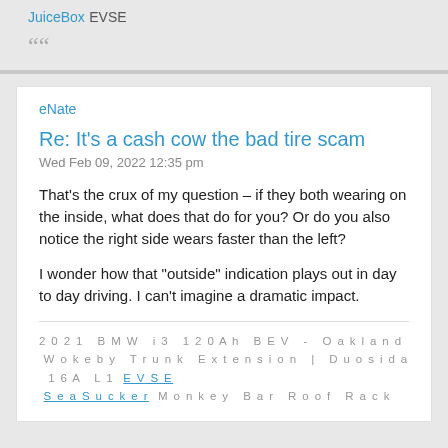JuiceBox EVSE
““
eNate
Re: It’s a cash cow the bad tire scam
Wed Feb 09, 2022 12:35 pm
That's the crux of my question – if they both wearing on the inside, what does that do for you? Or do you also notice the right side wears faster than the left?
I wonder how that "outside" indication plays out in day to day driving. I can't imagine a dramatic impact.
2021 BMW i3 120Ah BEV - Oakland
Wokeby Trunk Extension | Duosida 16A L1 EVSE
SeaSucker Monkey Bar Roof Rack